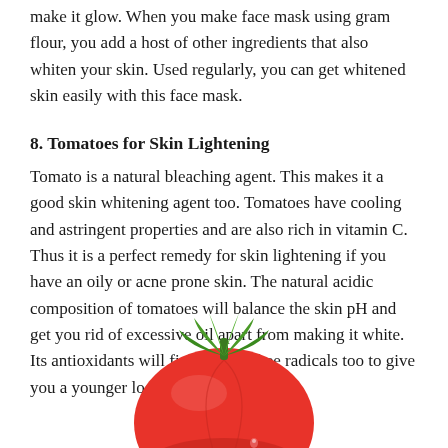make it glow. When you make face mask using gram flour, you add a host of other ingredients that also whiten your skin. Used regularly, you can get whitened skin easily with this face mask.
8. Tomatoes for Skin Lightening
Tomato is a natural bleaching agent. This makes it a good skin whitening agent too. Tomatoes have cooling and astringent properties and are also rich in vitamin C. Thus it is a perfect remedy for skin lightening if you have an oily or acne prone skin. The natural acidic composition of tomatoes will balance the skin pH and get you rid of excessive oil apart from making it white. Its antioxidants will fight off the free radicals too to give you a younger looking skin.
[Figure (illustration): A red ripe tomato with green stem/calyx visible at the top, shown from a slightly elevated angle, partially cut off at the bottom of the page.]